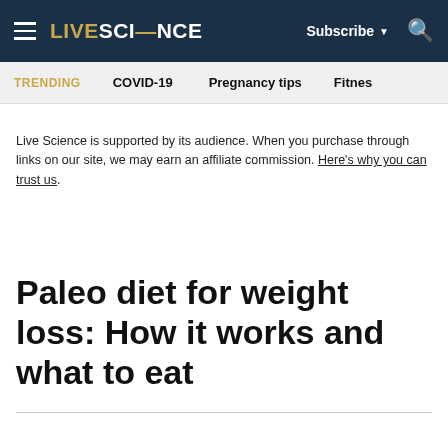LIVE SCIENCE — Subscribe — Search
TRENDING   COVID-19   Pregnancy tips   Fitnes
Live Science is supported by its audience. When you purchase through links on our site, we may earn an affiliate commission. Here's why you can trust us.
Paleo diet for weight loss: How it works and what to eat